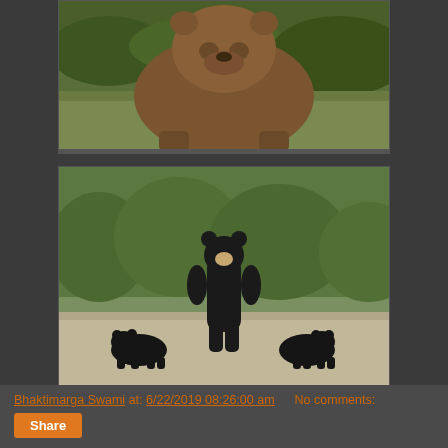[Figure (photo): A large brown grizzly bear facing the camera, walking through green grass with trees in background]
[Figure (photo): A black bear standing upright on a road with two small bear cubs at its sides, green trees in background]
Bhaktimarga Swami at: 6/22/2019 08:26:00 am    No comments:
Share